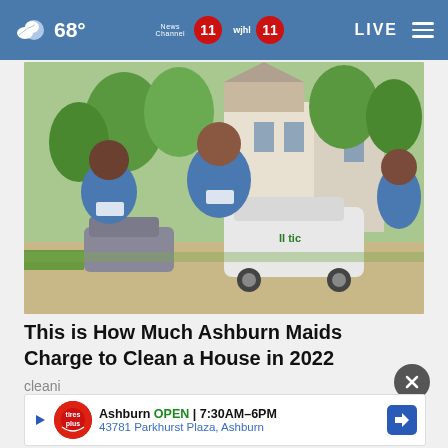68° News Channel 11 wjhl 11 LIVE
[Figure (photo): Three women in blue uniforms smiling outdoors in front of a residential neighborhood with cars; cleaning service workers]
This is How Much Ashburn Maids Charge to Clean a House in 2022
cleaning
[Figure (infographic): Advertisement: Tire Auto - Ashburn OPEN 7:30AM-6PM, 43781 Parkhurst Plaza, Ashburn, with navigation icon]